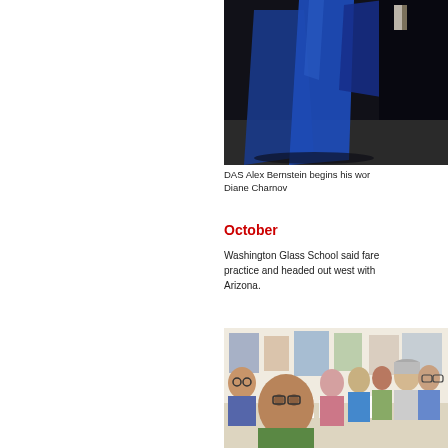[Figure (photo): Photo of blue glass artwork leaning against a dark studio background]
DAS Alex Bernstein begins his work with Diane Charnov
October
Washington Glass School said fare well to practice and headed out west with Arizona.
[Figure (photo): Photo of a group of people sitting around a table in an art studio, taking a selfie]